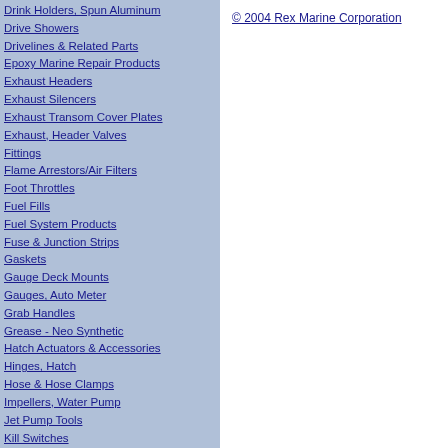Drink Holders, Spun Aluminum
Drive Showers
Drivelines & Related Parts
Epoxy Marine Repair Products
Exhaust Headers
Exhaust Silencers
Exhaust Transom Cover Plates
Exhaust, Header Valves
Fittings
Flame Arrestors/Air Filters
Foot Throttles
Fuel Fills
Fuel System Products
Fuse & Junction Strips
Gaskets
Gauge Deck Mounts
Gauges, Auto Meter
Grab Handles
Grease - Neo Synthetic
Hatch Actuators & Accessories
Hinges, Hatch
Hose & Hose Clamps
Impellers, Water Pump
Jet Pump Tools
Kill Switches
Lights
Marine Oil Pans
Motor Mounts
Oil Caps, Valve Cover
Oil Coolers & Brackets
Outboard Products
Paddles & Paddle Clips
Prop Nuts & Kits
Prop Puller, Steel
Prop Shafts (V-Drive, Inboard)
Puke Tanks, Oil
Rub Rail, Trim, & Molding
Sea Strainers
Shifter Knobs
Shifters
Silicone, Marine
© 2004 Rex Marine Corporation